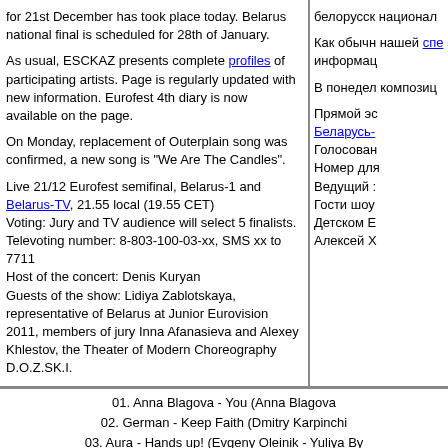for 21st December has took place today. Belarus national final is scheduled for 28th of January.
As usual, ESCKAZ presents complete profiles of participating artists. Page is regularly updated with new information. Eurofest 4th diary is now available on the page.
On Monday, replacement of Outerplain song was confirmed, a new song is "We Are The Candles".
Live 21/12 Eurofest semifinal, Belarus-1 and Belarus-TV, 21.55 local (19.55 CET)
Voting: Jury and TV audience will select 5 finalists.
Teleoting number: 8-803-100-03-xx, SMS xx to 7711
Host of the concert: Denis Kuryan
Guests of the show: Lidiya Zablotskaya, representative of Belarus at Junior Eurovision 2011, members of jury Inna Afanasieva and Alexey Khlestov, the Theater of Modern Choreography D.O.Z.SK.I.
белорусс национал
Как обычн нашей спе информац
В понедел композиц
Прямой эс Беларусь- Голосован Номер для Ведущий : Гости шоу Детском Е Алексей Х
01. Anna Blagova - You (Anna Blagova
02. German - Keep Faith (Dmitry Karpinchi
03. Aura - Hands up! (Evgeny Oleinik - Yuliya By
04. Alexandra Gaiduk and Natalia Baldina - Loveless (Maxim Oleir
05. Gunesh - And Morning Will Come (Isa Mel
06. Anastasia Vinnikova - Shining In Twilight (Yu
07. The Champions - It's your time (Olisa Emel
08. Yann Zhenchak and Outerplain - We Are The
09. Ekivoki - Number One (Alexander Sukha
10. (truncated)